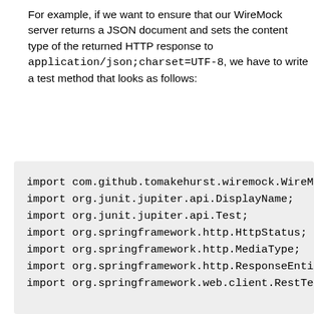For example, if we want to ensure that our WireMock server returns a JSON document and sets the content type of the returned HTTP response to application/json;charset=UTF-8, we have to write a test method that looks as follows:
import com.github.tomakehurst.wiremock.WireM
import org.junit.jupiter.api.DisplayName;
import org.junit.jupiter.api.Test;
import org.springframework.http.HttpStatus;
import org.springframework.http.MediaType;
import org.springframework.http.ResponseEnti
import org.springframework.web.client.RestTe